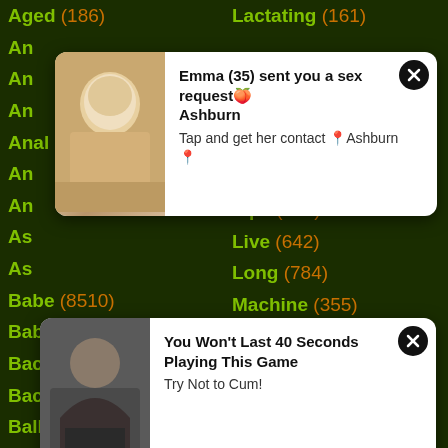Aged (186)
Lactating (161)
Anal (28976)
Latex (1179)
[Figure (screenshot): Popup notification: Emma (35) sent you a sex request. Ashburn. Tap and get her contact Ashburn. With close button and photo of blonde woman.]
[Figure (screenshot): Popup notification: You Won't Last 40 Seconds Playing This Game. Try Not to Cum! With close button and photo.]
Babe (8510)
Lick (3854)
Babysitter (310)
Lingerie (6046)
Backroom (38)
Lips (357)
Backseat (18)
Live (642)
Ball (857)
Long (784)
Banging (245)
Machine (355)
Bar (1583)
Maid (1344)
Bareback (229)
Maledom (14)